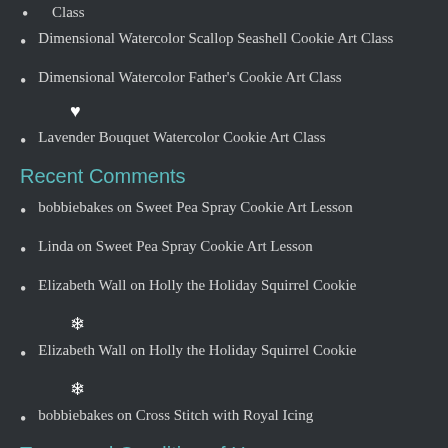Class
Dimensional Watercolor Scallop Seashell Cookie Art Class
Dimensional Watercolor Father's Cookie Art Class
Lavender Bouquet Watercolor Cookie Art Class
Recent Comments
bobbiebakes on Sweet Pea Spray Cookie Art Lesson
Linda on Sweet Pea Spray Cookie Art Lesson
Elizabeth Wall on Holly the Holiday Squirrel Cookie
Elizabeth Wall on Holly the Holiday Squirrel Cookie
bobbiebakes on Cross Stitch with Royal Icing
Terms and Condition of Use
The content on this site, images, recipes, videos, and tutorials are legally copyrighted and protected by